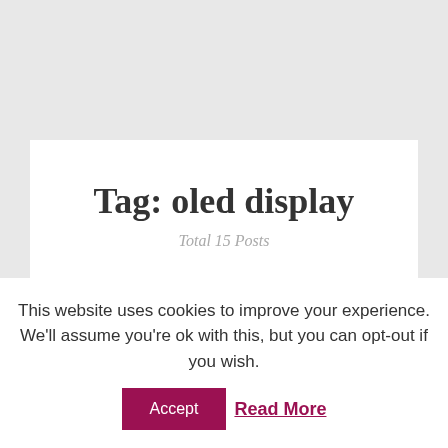Tag: oled display
Total 15 Posts
This website uses cookies to improve your experience. We'll assume you're ok with this, but you can opt-out if you wish.
Accept
Read More